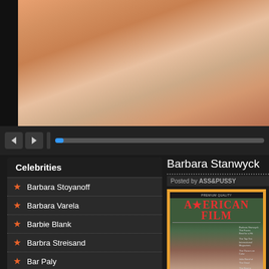[Figure (photo): Close-up photo of human skin/body with warm orange tones]
[Figure (screenshot): Video player controls bar with back/forward buttons and progress bar]
Celebrities
Barbara Stoyanoff
Barbara Varela
Barbie Blank
Barbra Streisand
Bar Paly
Bar Rafaeli
Bar Refaeli
Bc Jean
Beatrice Borromeo
Beatrice Chirita
Barbara Stanwyck
Posted by ASS&PUSSY
[Figure (photo): Magazine cover of American Film featuring Barbara Stanwyck]